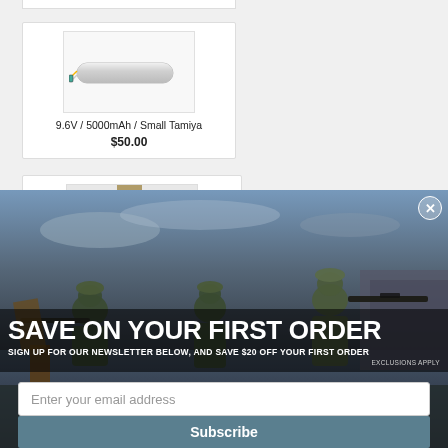[Figure (photo): Partial product card at top of page, cut off]
[Figure (photo): Battery product image: 9.6V / 5000mAh NiMH battery pack with small Tamiya connector, white cylindrical cells]
9.6V / 5000mAh / Small Tamiya
$50.00
[Figure (photo): Partial product card at bottom, partially visible battery image]
[Figure (photo): Modal popup over the page: soldiers in military gear in combat positions with rifles, outdoor rocky environment, dusk sky background]
SAVE ON YOUR FIRST ORDER
SIGN UP FOR OUR NEWSLETTER BELOW, AND SAVE $20 OFF YOUR FIRST ORDER
EXCLUSIONS APPLY
Enter your email address
Subscribe